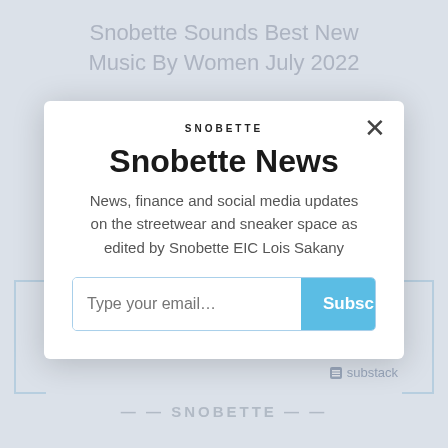Snobette Sounds Best New Music By Women July 2022
[Figure (screenshot): Modal newsletter signup popup for Snobette News on a Substack page. Modal contains the SNOBETTE logo, a close (X) button, the heading 'Snobette News', descriptive text 'News, finance and social media updates on the streetwear and sneaker space as edited by Snobette EIC Lois Sakany', an email input field labeled 'Type your email...' and a blue Subscribe button. Below the modal is a Substack branding badge. The background shows the blurred page title and blue bracket decorations.]